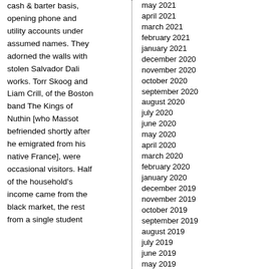cash & barter basis, opening phone and utility accounts under assumed names. They adorned the walls with stolen Salvador Dali works. Torr Skoog and Liam Crill, of the Boston band The Kings of Nuthin [who Massot befriended shortly after he emigrated from his native France], were occasional visitors. Half of the household's income came from the black market, the rest from a single student
may 2021
april 2021
march 2021
february 2021
january 2021
december 2020
november 2020
october 2020
september 2020
august 2020
july 2020
june 2020
may 2020
april 2020
march 2020
february 2020
january 2020
december 2019
november 2019
october 2019
september 2019
august 2019
july 2019
june 2019
may 2019
april 2019
march 2019
february 2019
september 2017
july 2017
june 2017
may 2017
april 2017